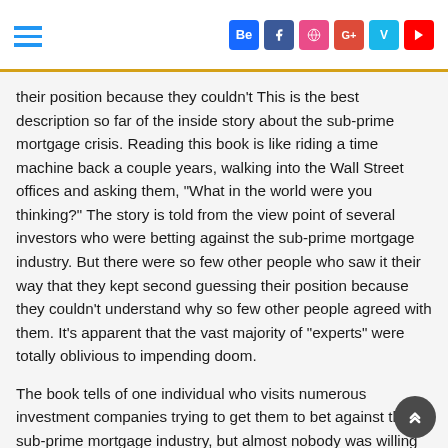[hamburger menu] [social icons: Be, f, Dribbble, G+, Vine, YouTube]
their position because they couldn't This is the best description so far of the inside story about the sub-prime mortgage crisis. Reading this book is like riding a time machine back a couple years, walking into the Wall Street offices and asking them, "What in the world were you thinking?" The story is told from the view point of several investors who were betting against the sub-prime mortgage industry. But there were so few other people who saw it their way that they kept second guessing their position because they couldn't understand why so few other people agreed with them. It's apparent that the vast majority of "experts" were totally oblivious to impending doom.
The book tells of one individual who visits numerous investment companies trying to get them to bet against the sub-prime mortgage industry, but almost nobody was willing to believe him. He even had a complete power point presentation explaining how buying credit default swaps (betting against sub-prime mortgages) was a virtual sure thing. Still, he convinced few people.